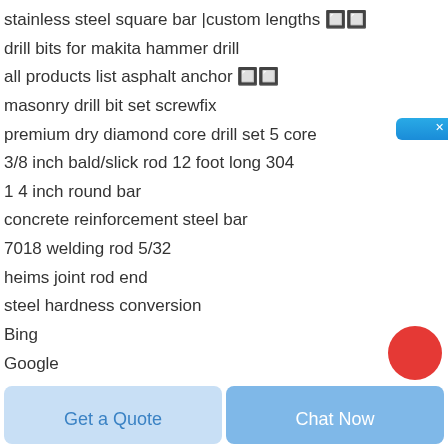stainless steel square bar |custom lengths 🔲🔲
drill bits for makita hammer drill
all products list asphalt anchor 🔲🔲
masonry drill bit set screwfix
premium dry diamond core drill set 5 core
3/8 inch bald/slick rod 12 foot long 304
1 4 inch round bar
concrete reinforcement steel bar
7018 welding rod 5/32
heims joint rod end
steel hardness conversion
Bing
Google
[Figure (other): Chinese online consultation sidebar widget with text 在线咨询]
[Figure (other): Red circular button partially visible at bottom right]
Get a Quote
Chat Now